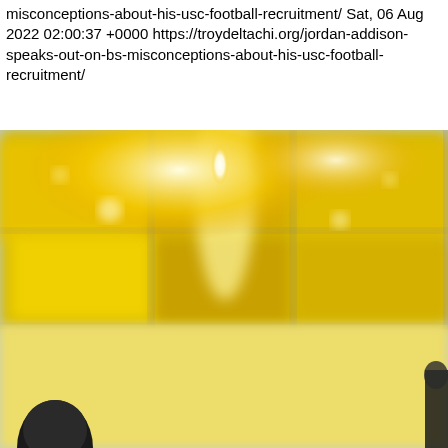misconceptions-about-his-usc-football-recruitment/ Sat, 06 Aug 2022 02:00:37 +0000 https://troydeltachi.org/jordan-addison-speaks-out-on-bs-misconceptions-about-his-usc-football-recruitment/
[Figure (photo): Blurred photo of yellow stadium seats with bright light glare in the background. In the lower portion, a dark-haired person is seen from behind against a pale yellow surface, likely a podium or table.]